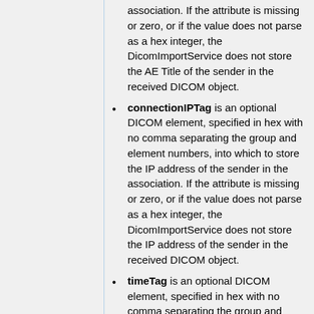association. If the attribute is missing or zero, or if the value does not parse as a hex integer, the DicomImportService does not store the AE Title of the sender in the received DICOM object.
connectionIPTag is an optional DICOM element, specified in hex with no comma separating the group and element numbers, into which to store the IP address of the sender in the association. If the attribute is missing or zero, or if the value does not parse as a hex integer, the DicomImportService does not store the IP address of the sender in the received DICOM object.
timeTag is an optional DICOM element, specified in hex with no comma separating the group and